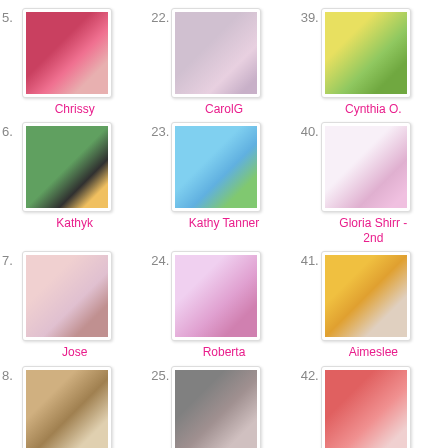[Figure (photo): Entry #5 - craft/art card with floral elements, pink flowers]
Chrissy
[Figure (photo): Entry #22 - art journal page with circular pink floral design]
CarolG
[Figure (photo): Entry #39 - illustrated card with yellow and green scene]
Cynthia O.
[Figure (photo): Entry #6 - green background card with electronic component image]
Kathyk
[Figure (photo): Entry #23 - illustrated card with girl running with balloon]
Kathy Tanner
[Figure (photo): Entry #40 - pink decorative card with small image]
Gloria Shirr - 2nd
[Figure (photo): Entry #7 - floral craft card with red bow and white flowers]
Jose
[Figure (photo): Entry #24 - illustrated cards with anime-style characters]
Roberta
[Figure (photo): Entry #41 - horizontal card with purple flower and golden background]
Aimeslee
[Figure (photo): Entry #8 - decorative card with plant in pot, floral elements]
[Figure (photo): Entry #25 - dark textured art with character figure]
[Figure (photo): Entry #42 - red background card with figure]